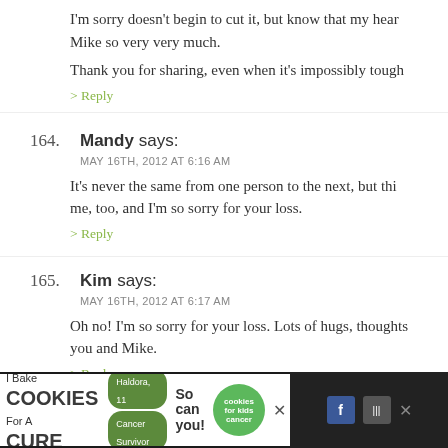I'm sorry doesn't begin to cut it, but know that my heart… Mike so very very much.
Thank you for sharing, even when it's impossibly tough
> Reply
164. Mandy says: MAY 16TH, 2012 AT 6:16 AM — It's never the same from one person to the next, but thi… me, too, and I'm so sorry for your loss.
> Reply
165. Kim says: MAY 16TH, 2012 AT 6:17 AM — Oh no! I'm so sorry for your loss. Lots of hugs, thoughts… you and Mike.
> Reply
166. Jessica says:
[Figure (screenshot): Advertisement banner for 'I Bake Cookies For A Cure' featuring a girl, green cookie badge, and close button]